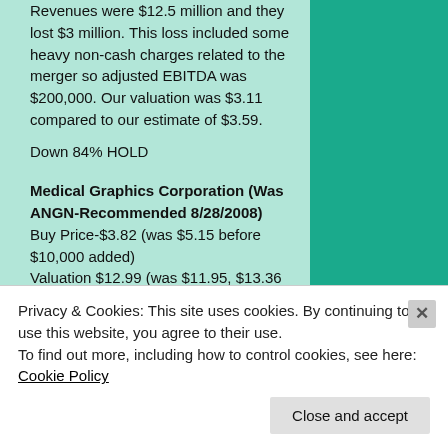Revenues were $12.5 million and they lost $3 million. This loss included some heavy non-cash charges related to the merger so adjusted EBITDA was $200,000. Our valuation was $3.11 compared to our estimate of $3.59.
Down 84% HOLD
Medical Graphics Corporation (Was ANGN-Recommended 8/28/2008) Buy Price-$3.82 (was $5.15 before $10,000 added) Valuation $12.99 (was $11.95, $13.36 $15.90, $13.13, $13.19, $13.60, $15.00, $13.06, $12.15, $11.29, $11.73, $11.47, $11.16, $9.53, $13.30, $13.03) Closed up $.20 at $6.20 Earnings announced in August. Revenues
Privacy & Cookies: This site uses cookies. By continuing to use this website, you agree to their use. To find out more, including how to control cookies, see here: Cookie Policy